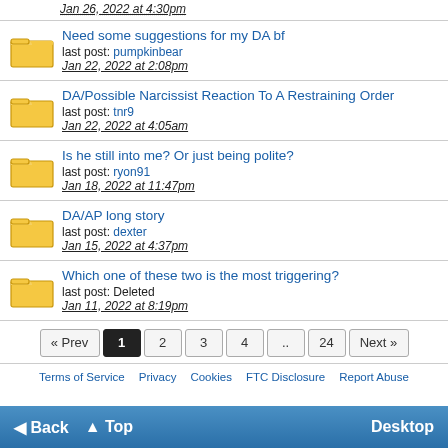Jan 26, 2022 at 4:30pm
Need some suggestions for my DA bf
last post: pumpkinbear
Jan 22, 2022 at 2:08pm
DA/Possible Narcissist Reaction To A Restraining Order
last post: tnr9
Jan 22, 2022 at 4:05am
Is he still into me? Or just being polite?
last post: ryon91
Jan 18, 2022 at 11:47pm
DA/AP long story
last post: dexter
Jan 15, 2022 at 4:37pm
Which one of these two is the most triggering?
last post: Deleted
Jan 11, 2022 at 8:19pm
« Prev  1  2  3  4  ..  24  Next »
Terms of Service   Privacy   Cookies   FTC Disclosure   Report Abuse
◄ Back   ▲ Top   Desktop